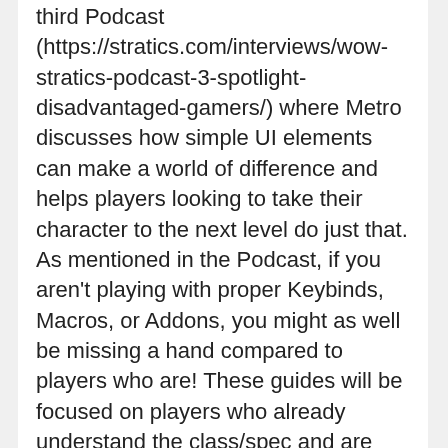third Podcast (https://stratics.com/interviews/wow-stratics-podcast-3-spotlight-disadvantaged-gamers/) where Metro discusses how simple UI elements can make a world of difference and helps players looking to take their character to the next level do just that. As mentioned in the Podcast, if you aren't playing with proper Keybinds, Macros, or Addons, you might as well be missing a hand compared to players who are! These guides will be focused on players who already understand the class/spec and are looking to elevate their game to the next level. The experience I have with each spec is almost purely through Challenge Mode dungeons, and can say these design elements can make or break your play and will tell you if / when you are ready for that next step. Let's get started!
Today we will examine Frost Mage and show how a few simple indicators can take your play from moderate to exceptional. This one will be especially important, as from my experience, I literally have never played a DPS...